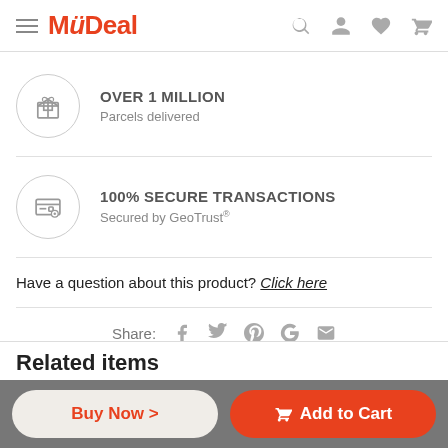MyDeal
OVER 1 MILLION
Parcels delivered
100% SECURE TRANSACTIONS
Secured by GeoTrust®
Have a question about this product? Click here
Share:
Related items
Buy Now ›
Add to Cart